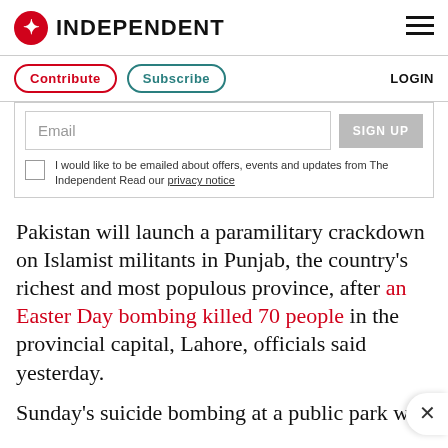INDEPENDENT
Contribute  Subscribe  LOGIN
Email  SIGN UP
I would like to be emailed about offers, events and updates from The Independent Read our privacy notice
Pakistan will launch a paramilitary crackdown on Islamist militants in Punjab, the country's richest and most populous province, after an Easter Day bombing killed 70 people in the provincial capital, Lahore, officials said yesterday.
Sunday's suicide bombing at a public park wa